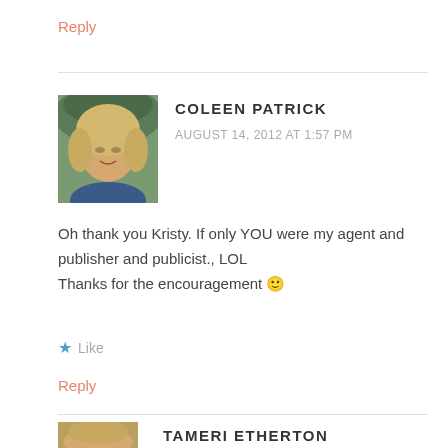Reply
[Figure (photo): Profile photo of Coleen Patrick, a woman with blonde hair]
COLEEN PATRICK
AUGUST 14, 2012 AT 1:57 PM
Oh thank you Kristy. If only YOU were my agent and publisher and publicist., LOL
Thanks for the encouragement 🙂
★ Like
Reply
[Figure (photo): Profile photo of Tameri Etherton, a woman with blonde hair]
TAMERI ETHERTON